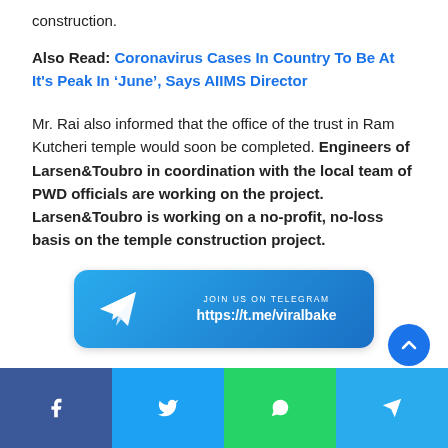construction.
Also Read: Coronavirus Cases In Country To Be At It's Peak In 'June', Says AIIMS Director
Mr. Rai also informed that the office of the trust in Ram Kutcheri temple would soon be completed. Engineers of Larsen&Toubro in coordination with the local team of PWD officials are working on the project. Larsen&Toubro is working on a no-profit, no-loss basis on the temple construction project.
[Figure (infographic): Telegram channel banner with icon, JOIN US ON TELEGRAM label, and URL https://t.me/viralbake]
Social share bar with Facebook, Twitter, WhatsApp, Telegram buttons